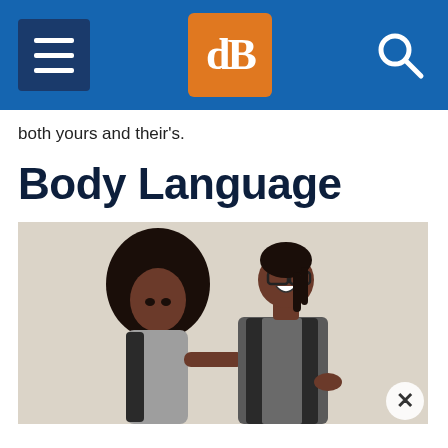dPS — digital photography school header with hamburger menu, logo, and search icon
both yours and their's.
Body Language
[Figure (photo): A woman with a natural afro and a man wearing glasses and a vest laughing, photographed against a light background. The woman is touching the man's arm while he laughs with his head back.]